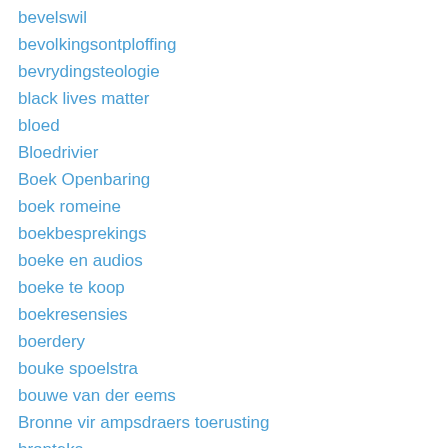bevelswil
bevolkingsontploffing
bevrydingsteologie
black lives matter
bloed
Bloedrivier
Boek Openbaring
boek romeine
boekbesprekings
boeke en audios
boeke te koop
boekresensies
boerdery
bouke spoelstra
bouwe van der eems
Bronne vir ampsdraers toerusting
bronteks
BSAV (vertaling)
bucer
buitengewone dae